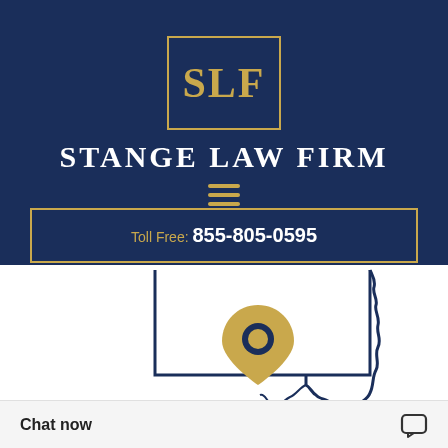[Figure (logo): SLF logo in gold lettering inside a gold-bordered box, on navy blue background]
Stange Law Firm
[Figure (other): Gold hamburger menu icon (three horizontal lines)]
Toll Free: 855-805-0595
[Figure (map): Outline map of Missouri state with a gold location pin marker in the center]
Chat now